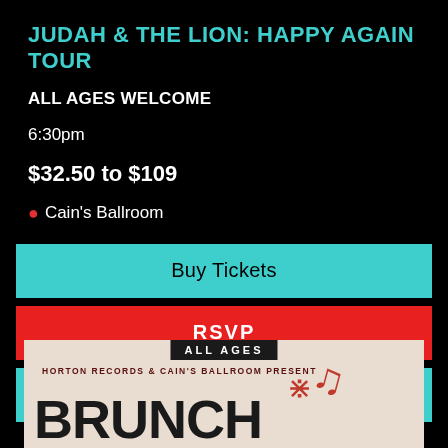JUDAH & THE LION: HAPPY AGAIN TOUR
ALL AGES WELCOME
6:30pm
$32.50 to $109
Cain's Ballroom
Buy Tickets
RSVP
More Info
[Figure (other): Event poster for Brunch at Cain's Ballroom, showing 'ALL AGES' banner, musical note and fork graphic, text 'HORTON RECORDS & CAIN'S BALLROOM PRESENT' and large text 'BRUNCH' at bottom]